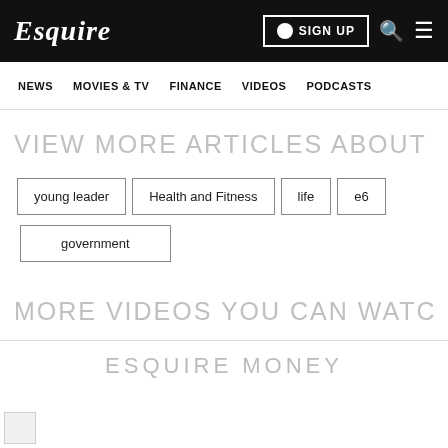Esquire
NEWS   MOVIES & TV   FINANCE   VIDEOS   PODCASTS
VIEW MORE ARTICLES ABOUT
young leader
Health and Fitness
life
e6
government
MORE VIDEOS YOU CAN WATCH
ESQUIRE MONEY
[Figure (photo): Broken image placeholder at bottom left]